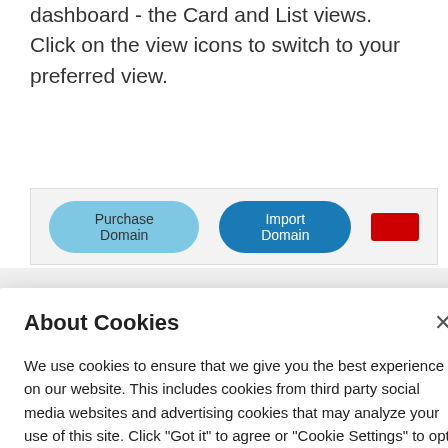dashboard - the Card and List views. Click on the view icons to switch to your preferred view.
[Figure (screenshot): UI bar with 'Purchase Domain' and 'Import Domain' buttons on a light gray background, with a red bar element on the right.]
About Cookies
We use cookies to ensure that we give you the best experience on our website. This includes cookies from third party social media websites and advertising cookies that may analyze your use of this site. Click "Got it" to agree or "Cookie Settings" to opt out.
Cookie Notice
Got It
Cookies Settings